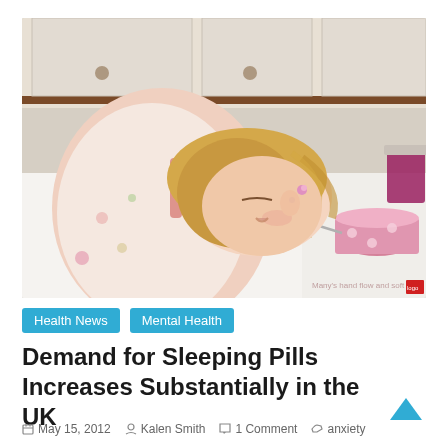[Figure (photo): A young girl with blonde hair has fallen asleep face-down on a slice of bread at a breakfast table, with a polka-dot bowl and a jar of jam visible in the background.]
Health News   Mental Health
Demand for Sleeping Pills Increases Substantially in the UK
May 15, 2012   Kalen Smith   1 Comment   anxiety